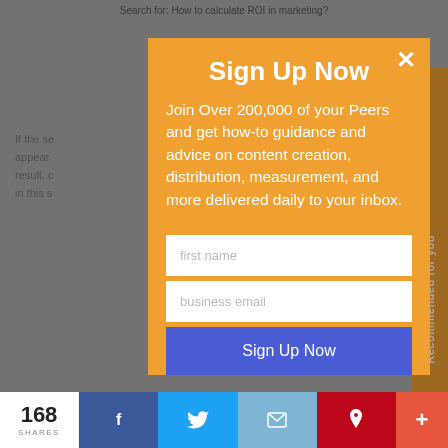Search for: How to calculate ROI in marketing?
[Figure (screenshot): Web page background with dimmed text content about SEO and content marketing, partially visible behind an orange modal overlay]
Sign Up Now
Join Over 200,000 of your Peers and get how-to guidance and advice on content creation, distribution, measurement, and more delivered daily to your inbox.
first name
business email
Sign Up Now
Recommended for you
168 SHARES